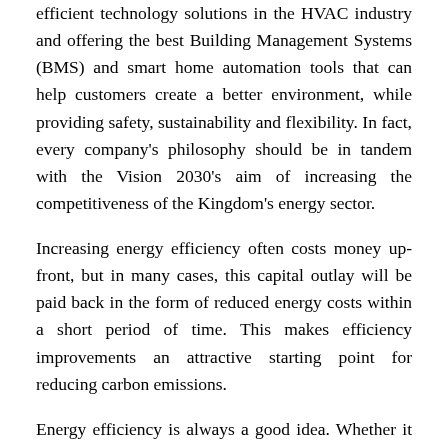efficient technology solutions in the HVAC industry and offering the best Building Management Systems (BMS) and smart home automation tools that can help customers create a better environment, while providing safety, sustainability and flexibility. In fact, every company's philosophy should be in tandem with the Vision 2030's aim of increasing the competitiveness of the Kingdom's energy sector.
Increasing energy efficiency often costs money up-front, but in many cases, this capital outlay will be paid back in the form of reduced energy costs within a short period of time. This makes efficiency improvements an attractive starting point for reducing carbon emissions.
Energy efficiency is always a good idea. Whether it is in silica and petrochemicals, it results in energy savings. Saudi Arabia is determined to move in this direction. To quote Vision 2030, it underlines that “we have all the raw ingredients for success…